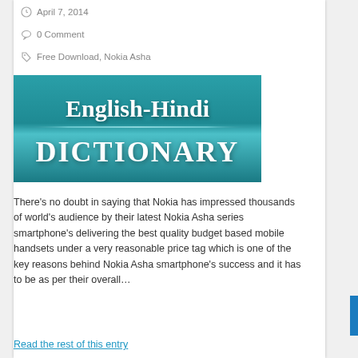April 7, 2014
0 Comment
Free Download, Nokia Asha
[Figure (illustration): English-Hindi Dictionary book cover image with teal/cyan background and white serif text reading 'English-Hindi DICTIONARY']
There’s no doubt in saying that Nokia has impressed thousands of world’s audience by their latest Nokia Asha series smartphone’s delivering the best quality budget based mobile handsets under a very reasonable price tag which is one of the key reasons behind Nokia Asha smartphone’s success and it has to be as per their overall…
Read the rest of this entry